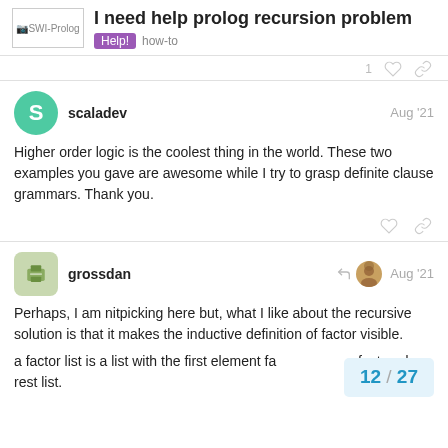SWI-Prolog | I need help prolog recursion problem | Help! how-to
scaladev — Aug '21
Higher order logic is the coolest thing in the world. These two examples you gave are awesome while I try to grasp definite clause grammars. Thank you.
grossdan — Aug '21
Perhaps, I am nitpicking here but, what I like about the recursive solution is that it makes the inductive definition of factor visible.
a factor list is a list with the first element fa factored rest list.
12 / 27